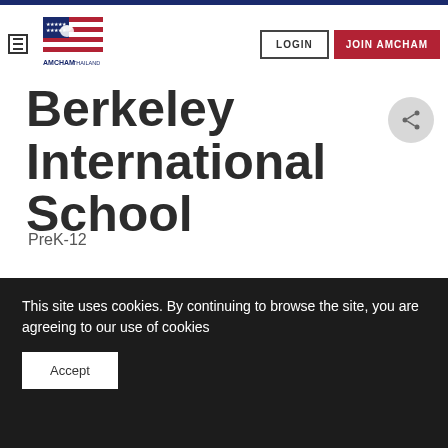[Figure (logo): AMCHAM Thailand logo with American flag motif and eagle]
LOGIN   JOIN AMCHAM
Berkeley International School
PreK-12
This site uses cookies. By continuing to browse the site, you are agreeing to our use of cookies
Accept